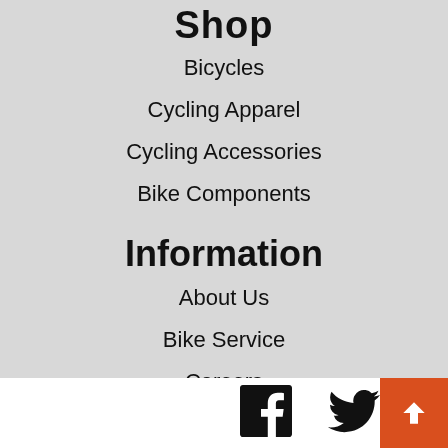Shop
Bicycles
Cycling Apparel
Cycling Accessories
Bike Components
Information
About Us
Bike Service
Careers
Financing
[Figure (other): Facebook and Twitter social media icons at the bottom of the page, plus a back-to-top button with an upward arrow on an orange background]